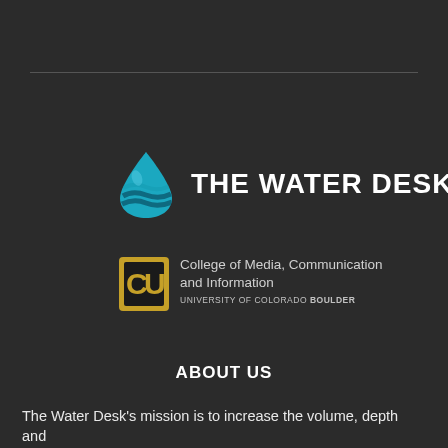[Figure (logo): The Water Desk logo: a teal/blue water drop icon with wave stripes, followed by bold white text 'THE WATER DESK']
[Figure (logo): University of Colorado Boulder logo: CU gold and black emblem, with text 'College of Media, Communication and Information' and 'UNIVERSITY OF COLORADO BOULDER']
ABOUT US
The Water Desk's mission is to increase the volume, depth and